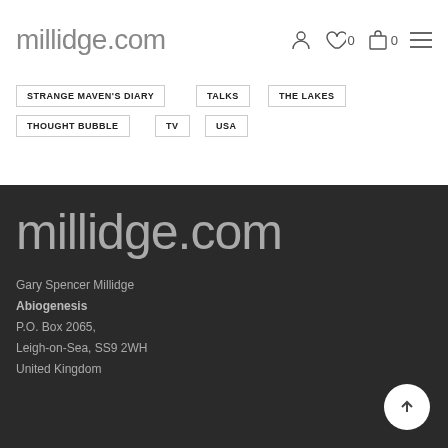millidge.com
STRANGE MAVEN'S DIARY
TALKS
THE LAKES
THOUGHT BUBBLE
TV
USA
millidge.com
Gary Spencer Millidge
Abiogenesis
P.O. Box 2065,
Leigh-on-Sea, SS9 2WH
United Kingdom